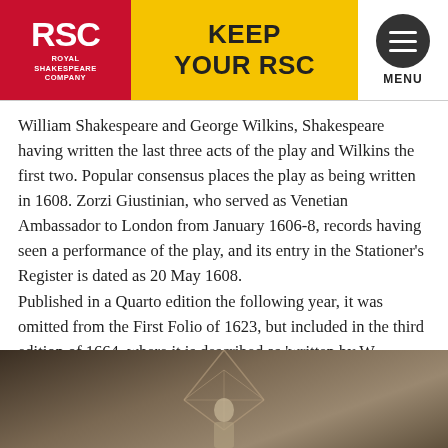RSC ROYAL SHAKESPEARE COMPANY | KEEP YOUR RSC | MENU
William Shakespeare and George Wilkins, Shakespeare having written the last three acts of the play and Wilkins the first two. Popular consensus places the play as being written in 1608. Zorzi Giustinian, who served as Venetian Ambassador to London from January 1606-8, records having seen a performance of the play, and its entry in the Stationer's Register is dated as 20 May 1608.
Published in a Quarto edition the following year, it was omitted from the First Folio of 1623, but included in the third edition of 1664, where it is described as 'written by W Shakespeare and published in his lifetime.'
[Figure (photo): Sepia-toned theatrical photograph showing a figure on stage with a geometric diamond/star-shaped light installation in the background.]